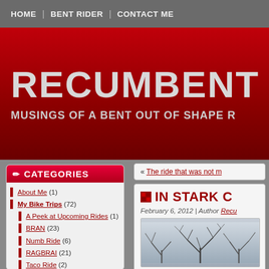HOME | BENT RIDER | CONTACT ME
RECUMBENT RO
MUSINGS OF A BENT OUT OF SHAPE R
CATEGORIES
About Me (1)
My Bike Trips (72)
A Peek at Upcoming Rides (1)
BRAN (23)
Numb Ride (6)
RAGBRAI (21)
Taco Ride (2)
Tour de Nebraska (8)
Weekly Rides (9)
My Gear and Apparel (4)
My Recumbent (4)
My Recumbent Trike (4)
My Riding Stats (3)
My SAG Trips (4)
« The ride that was not m
IN STARK C
February 6, 2012 | Author Recu
[Figure (photo): Winter tree branches against a grey sky]